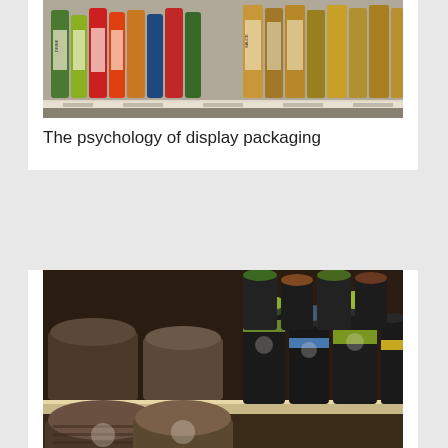[Figure (photo): Retail shelf with colorful beverage bottles and product packaging in a store aisle]
The psychology of display packaging
[Figure (photo): Retail shelf with bags of grains/seeds and dark cylindrical containers with colorful lids]
Competing for market share